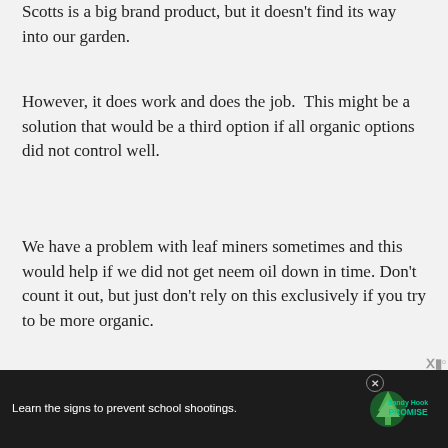Scotts is a big brand product, but it doesn't find its way into our garden.
However, it does work and does the job.  This might be a solution that would be a third option if all organic options did not control well.
We have a problem with leaf miners sometimes and this would help if we did not get neem oil down in time. Don't count it out, but just don't rely on this exclusively if you try to be more organic.
[Figure (other): Partial orange call-to-action button visible at bottom of main content area]
[Figure (other): Advertisement banner: dark background with text 'Learn the signs to prevent school shootings.' and Sandy Hook Promise logo with green tree icon, close buttons on right side]